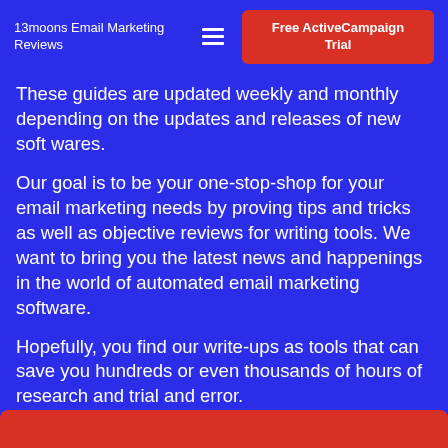13moons Email Marketing Reviews
These guides are updated weekly and monthly depending on the updates and releases of new soft wares.
Our goal is to be your one-stop-shop for your email marketing needs by proving tips and tricks as well as objective reviews for writing tools. We want to bring you the latest news and happenings in the world of automated email marketing software.
Hopefully, you find our write-ups as tools that can save you hundreds or even thousands of hours of research and trial and error.